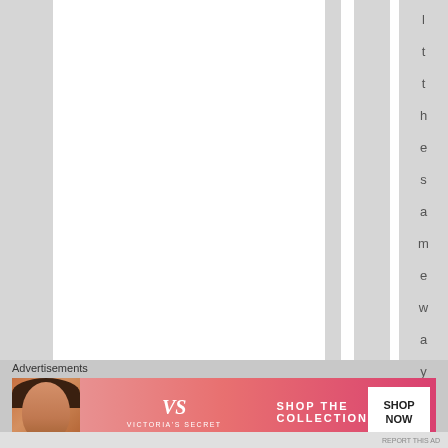[Figure (other): Webpage screenshot with vertical striped layout showing rotated text reading 'the same way, not ju...' running vertically down a column, with gray and white alternating column stripes]
Advertisements
[Figure (screenshot): Victoria's Secret advertisement banner: 'SHOP THE COLLECTION' with SHOP NOW button, featuring model with curly hair on pink/red gradient background]